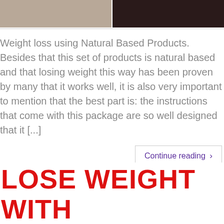[Figure (photo): Two side-by-side cropped photos showing people, left photo with light background, right photo with dark background]
Weight loss using Natural Based Products. Besides that this set of products is natural based and that losing weight this way has been proven by many that it works well, it is also very important to mention that the best part is: the instructions that come with this package are so well designed that it [...]
Continue reading ›
LOSE WEIGHT WITH